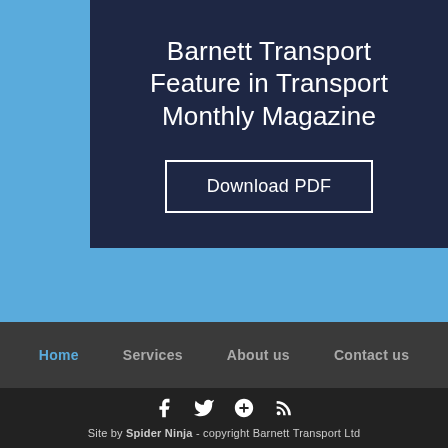Barnett Transport Feature in Transport Monthly Magazine
Download PDF
Home   Services   About us   Contact us
[Figure (other): Social media icons: Facebook, Twitter, Google+, RSS feed]
Site by Spider Ninja - copyright Barnett Transport Ltd